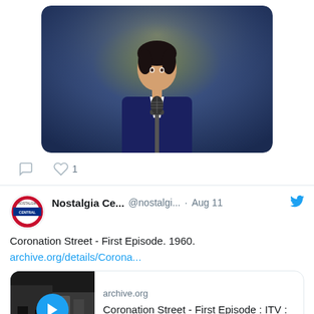[Figure (photo): Photo of a person in a dark suit holding a microphone, performing on stage. Blurred yellowish background.]
Heart icon with count 1
[Figure (screenshot): Tweet from Nostalgia Ce... @nostalgi... Aug 11. Text: Coronation Street - First Episode. 1960. archive.org/details/Corona... with link preview showing archive.org Coronation Street - First Episode : ITV : Free ...]
[Figure (screenshot): Tweet from Nostalgia Ce... @nostalgi... Aug 10. Text: A couple of likely lads who are either out on the lash or out on the pull. Either way, they're dressed for all occasions...]